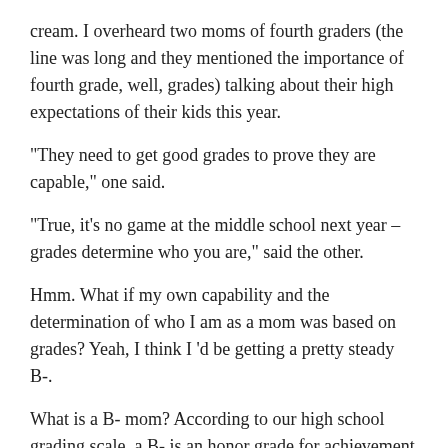cream. I overheard two moms of fourth graders (the line was long and they mentioned the importance of fourth grade, well, grades) talking about their high expectations of their kids this year.
“They need to get good grades to prove they are capable,” one said.
“True, it’s no game at the middle school next year – grades determine who you are,” said the other.
Hmm. What if my own capability and the determination of who I am as a mom was based on grades? Yeah, I think I’d be getting a pretty steady B-.
What is a B- mom? According to our high school grading scale, a B- is an honor grade for achievement considered above normal in terms of course objectives.” The ‘-’ indicates the lowest above normal achievement
I think it means that there are some things you do spectacularly…